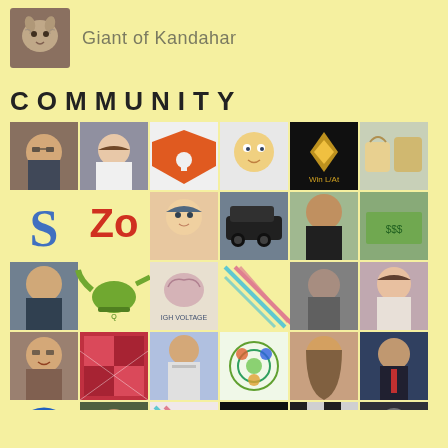Giant of Kandahar
COMMUNITY
[Figure (photo): Grid of community member avatars, icons, and profile photos arranged in 6 columns and multiple rows on a yellow background]